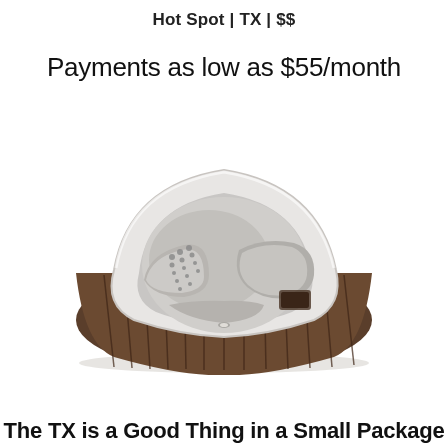Hot Spot | TX | $$
Payments as low as $55/month
[Figure (photo): A triangular/rounded hot tub spa with silver/white interior shell and dark brown wood-panel exterior cabinet, viewed from above at an angle, showing jet seats and massage seats inside.]
The TX is a Good Thing in a Small Package